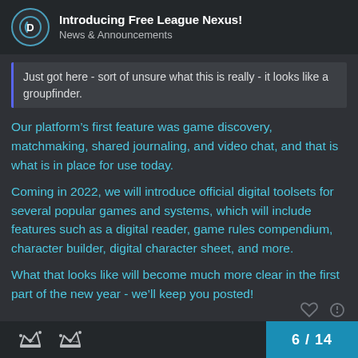Introducing Free League Nexus! | News & Announcements
Just got here - sort of unsure what this is really - it looks like a groupfinder.
Our platform's first feature was game discovery, matchmaking, shared journaling, and video chat, and that is what is in place for use today.
Coming in 2022, we will introduce official digital toolsets for several popular games and systems, which will include features such as a digital reader, game rules compendium, character builder, digital character sheet, and more.
What that looks like will become much more clear in the first part of the new year - we'll keep you posted!
6 / 14